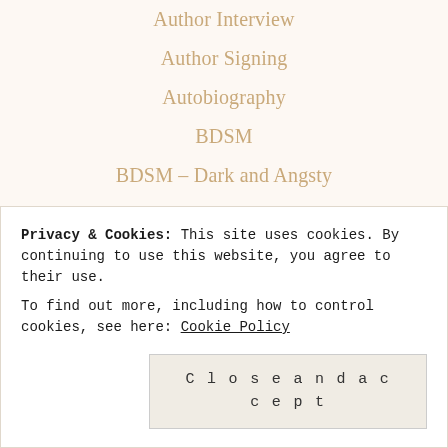Author Interview
Author Signing
Autobiography
BDSM
BDSM – Dark and Angsty
Biker
Billionaire Romance
Biographical Fiction
Biography
Bisexual Romance
Privacy & Cookies: This site uses cookies. By continuing to use this website, you agree to their use. To find out more, including how to control cookies, see here: Cookie Policy
Close and accept